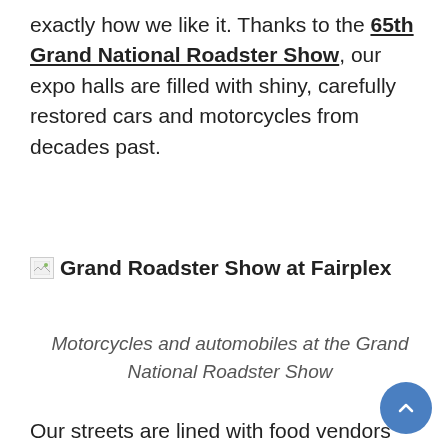exactly how we like it. Thanks to the 65th Grand National Roadster Show, our expo halls are filled with shiny, carefully restored cars and motorcycles from decades past.
[Figure (photo): Broken image placeholder showing 'Grand Roadster Show at Fairplex' with a small broken image icon on the left]
Motorcycles and automobiles at the Grand National Roadster Show
Our streets are lined with food vendors selling burgers, hot dogs, sweet treats, beer and other